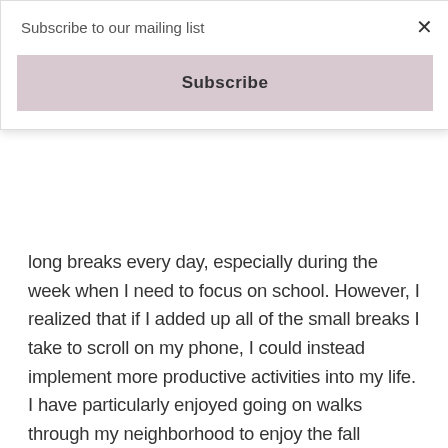Subscribe to our mailing list
Subscribe
long breaks every day, especially during the week when I need to focus on school. However, I realized that if I added up all of the small breaks I take to scroll on my phone, I could instead implement more productive activities into my life. I have particularly enjoyed going on walks through my neighborhood to enjoy the fall weather sticks around. The best part about implementing “me time” into your routine is that there are so many options with how to fill your time, and you can do something different every day. For example, I also love channeling my energy into embroidery or baking, since it feels a